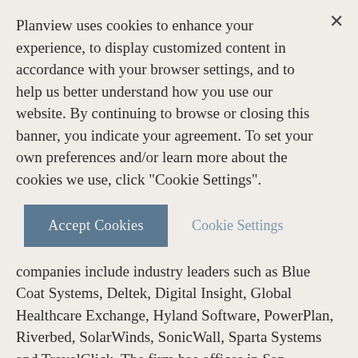Planview uses cookies to enhance your experience, to display customized content in accordance with your browser settings, and to help us better understand how you use our website. By continuing to browse or closing this banner, you indicate your agreement. To set your own preferences and/or learn more about the cookies we use, click "Cookie Settings".
Accept Cookies
Cookie Settings
business. Representative past and present portfolio companies include industry leaders such as Blue Coat Systems, Deltek, Digital Insight, Global Healthcare Exchange, Hyland Software, PowerPlan, Riverbed, SolarWinds, SonicWall, Sparta Systems and TravelClick. The firm has offices in San Francisco and Chicago. For more information, visit www.thomabravo.com.